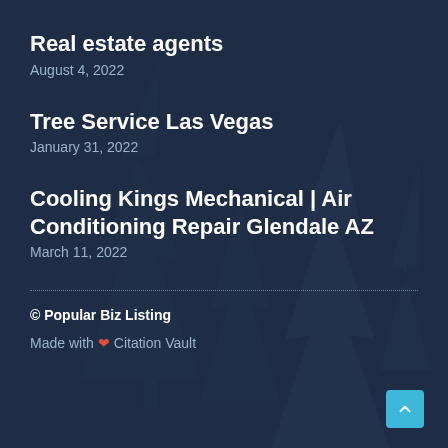[Figure (illustration): Dark navy blue background with faint silhouettes of conifer/pine trees creating a textured forest scene.]
Real estate agents
August 4, 2022
Tree Service Las Vegas
January 31, 2022
Cooling Kings Mechanical | Air Conditioning Repair Glendale AZ
March 11, 2022
© Popular Biz Listing
Made with ❤ Citation Vault